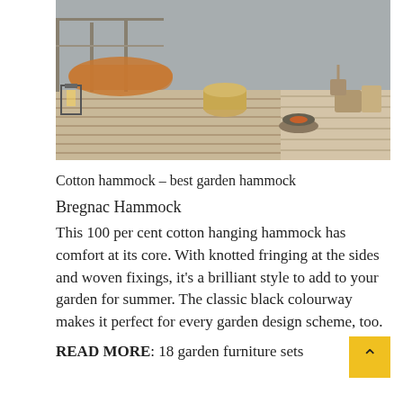[Figure (photo): Outdoor deck/terrace scene showing a hammock with orange/brown throw blanket, wicker basket, lantern, fire bowl, and outdoor furniture in warm neutral tones]
Cotton hammock – best garden hammock
Bregnac Hammock
This 100 per cent cotton hanging hammock has comfort at its core. With knotted fringing at the sides and woven fixings, it's a brilliant style to add to your garden for summer. The classic black colourway makes it perfect for every garden design scheme, too.
READ MORE: 18 garden furniture sets